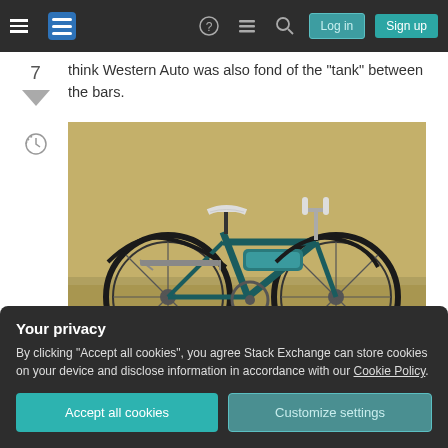Stack Exchange navigation bar with Log in and Sign up buttons
think Western Auto was also fond of the "tank" between the bars.
[Figure (photo): A vintage teal/dark green cruiser bicycle parked on dry grass, with chrome handlebars, a white saddle, front and rear fenders, and a rear rack.]
Your privacy
By clicking "Accept all cookies", you agree Stack Exchange can store cookies on your device and disclose information in accordance with our Cookie Policy.
Accept all cookies   Customize settings
answered Nov 3, 2014 at 13:12